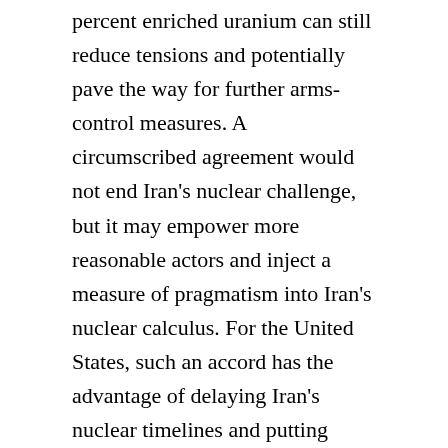percent enriched uranium can still reduce tensions and potentially pave the way for further arms-control measures. A circumscribed agreement would not end Iran's nuclear challenge, but it may empower more reasonable actors and inject a measure of pragmatism into Iran's nuclear calculus. For the United States, such an accord has the advantage of delaying Iran's nuclear timelines and putting some indispensable time back on the clock.
The challenge for the international community is how to transact a limited deal while maintaining the leverage of the sanctions that seem to be disciplining the recalcitrant theocracy. It is the